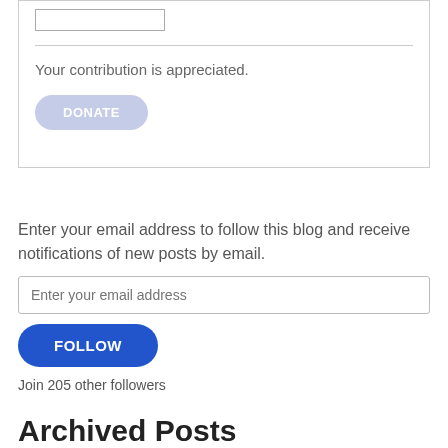Your contribution is appreciated.
DONATE
Enter your email address to follow this blog and receive notifications of new posts by email.
Enter your email address
FOLLOW
Join 205 other followers
Archived Posts